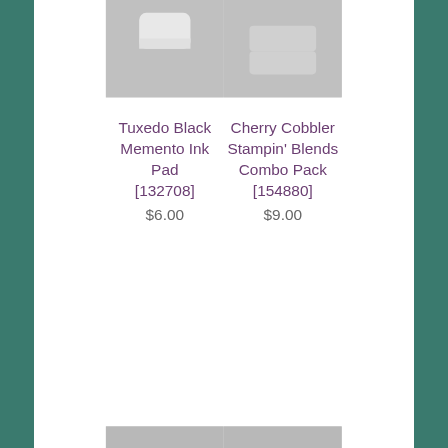[Figure (photo): Tuxedo Black Memento Ink Pad product photo on gray background]
[Figure (photo): Cherry Cobbler Stampin' Blends Combo Pack product photo on gray background]
Tuxedo Black Memento Ink Pad [132708] $6.00
Cherry Cobbler Stampin' Blends Combo Pack [154880] $9.00
[Figure (photo): Two double-ended Stampin' Blends markers on gray background]
[Figure (photo): Two double-ended Stampin' Blends markers with tan and brown tips on gray background]